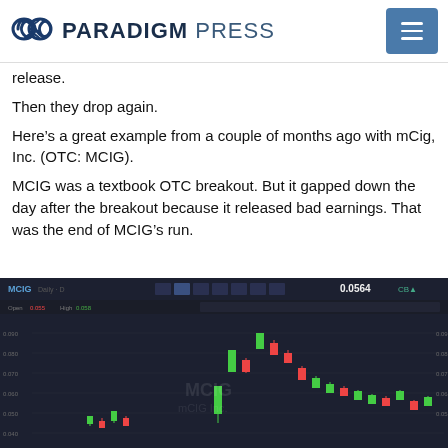PARADIGM PRESS
release.
Then they drop again.
Here’s a great example from a couple of months ago with mCig, Inc. (OTC: MCIG).
MCIG was a textbook OTC breakout. But it gapped down the day after the breakout because it released bad earnings. That was the end of MCIG’s run.
[Figure (screenshot): Candlestick chart of MCIG (mCig Inc.) stock showing a breakout followed by a gap down, displayed on a dark-themed trading platform. Price shown as 0.0564.]